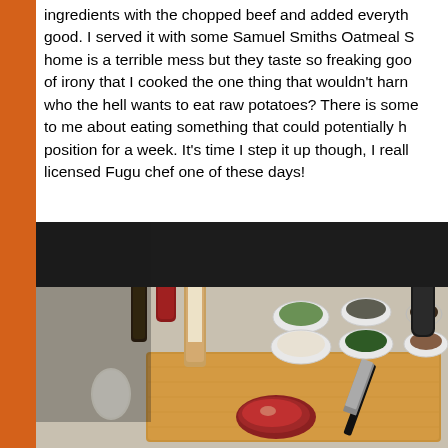ingredients with the chopped beef and added everything good. I served it with some Samuel Smiths Oatmeal S home is a terrible mess but they taste so freaking goo of irony that I cooked the one thing that wouldn't harm who the hell wants to eat raw potatoes? There is some to me about eating something that could potentially h position for a week. It's time I step it up though, I reall licensed Fugu chef one of these days!
[Figure (photo): Kitchen photo showing a wooden cutting board with a raw piece of meat and a large knife, surrounded by small glass bowls containing various chopped ingredients (herbs, onions, spices), bottles of condiments including Worcestershire sauce and ketchup, and an egg on the left side. Dark background.]